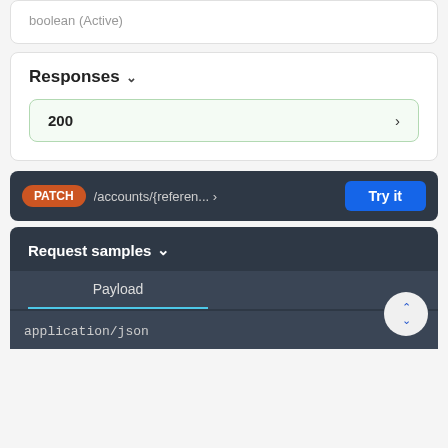boolean (Active)
Responses ˅
200 ›
PATCH /accounts/{referen... › Try it
Request samples ˅
Payload
application/json